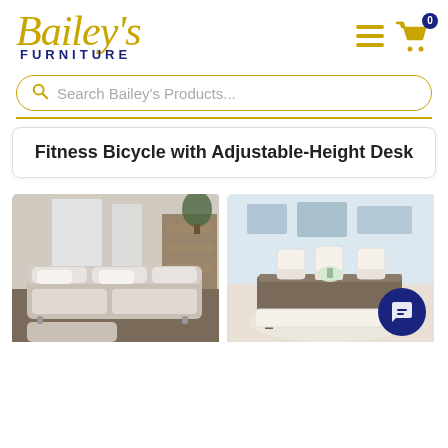[Figure (logo): Bailey's Furniture logo with gold cursive script and dark blue bold FURNITURE text]
[Figure (infographic): Hamburger menu icon and gold shopping cart icon with '0' badge]
Search Bailey's Products...
Fitness Bicycle with Adjustable-Height Desk
[Figure (photo): Gray L-shaped sectional sofa with white cushions in a modern living room]
[Figure (photo): White farmhouse dining table set with chairs and bench in a light blue room]